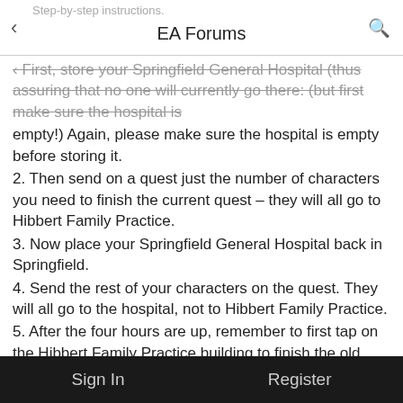EA Forums
Step-by-step instructions. First, store your Springfield General Hospital (thus assuring that no one will currently go there; (but first make sure the hospital is empty!) Again, please make sure the hospital is empty before storing it.
2. Then send on a quest just the number of characters you need to finish the current quest – they will all go to Hibbert Family Practice.
3. Now place your Springfield General Hospital back in Springfield.
4. Send the rest of your characters on the quest. They will all go to the hospital, not to Hibbert Family Practice.
5. After the four hours are up, remember to first tap on the Hibbert Family Practice building to finish the old quest, and then tap on the Springfield General Hospital, which will credit the new quest.
I have tested this out several times to make sure it works. Hope this helps anyone who needs the help. This event really will need you to log in promptly every four hours 4-5 times a day.
ACT 2: Store the Rigellian Construction site, send what characters you need to finish a partial on the Alien Abduction tour to finish, then store the Alien
Sign In    Register